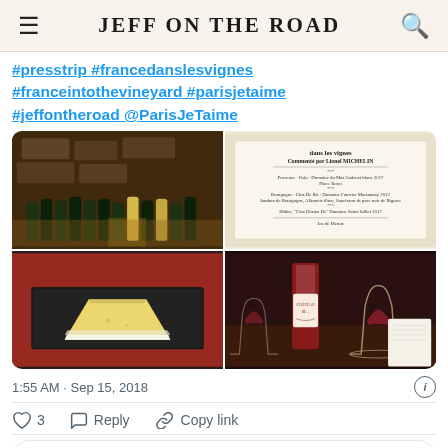JEFF ON THE ROAD
#presstrip #francedanslesvignes #franceintothevineyard #parisjetaime #jeffontheroad @ParisJeTaime
[Figure (photo): Four-photo grid: top-left shows wine bottles in a dimly lit cellar; top-right shows a formal menu card for a dinner in the vineyards; bottom-left shows a wedge of brie cheese on a dark slate board; bottom-right shows a wine glass and bottle on a table.]
1:55 AM · Sep 15, 2018
♡ 3   Reply   Copy link
Explore what's happening on Twitter